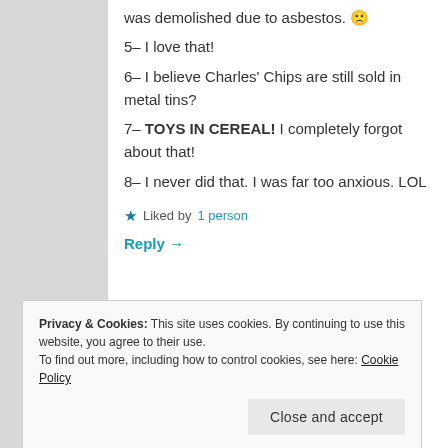was demolished due to asbestos. 🙁
5- I love that!
6- I believe Charles' Chips are still sold in metal tins?
7- TOYS IN CEREAL! I completely forgot about that!
8- I never did that. I was far too anxious. LOL
★ Liked by 1 person
Reply →
Privacy & Cookies: This site uses cookies. By continuing to use this website, you agree to their use. To find out more, including how to control cookies, see here: Cookie Policy
Close and accept